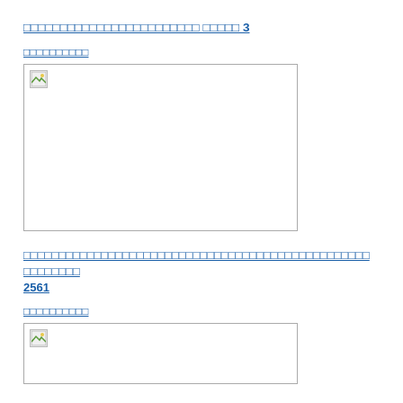□□□□□□□□□□□□□□□□□□□□□□□□ □□□□□ 3
□□□□□□□□□□
[Figure (photo): Broken image placeholder in a rectangular box]
□□□□□□□□□□□□□□□□□□□□□□□□□□□□□□□□□□□□□□□□□□□□□□□□ □□□□□□□□ 2561
□□□□□□□□□□
[Figure (photo): Broken image placeholder in a rectangular box]